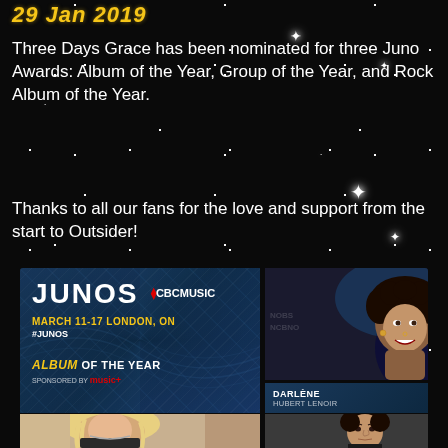29 Jan 2019
Three Days Grace has been nominated for three Juno Awards: Album of the Year, Group of the Year, and Rock Album of the Year.
Thanks to all our fans for the love and support from the start to Outsider!
[Figure (photo): Junos promotional image showing JUNOS logo with CBC Music branding, March 11-17 London ON dates, Album of the Year category, and photos of two nominees including Darlene by Hubert Lenoir, a blonde woman, and a young man.]